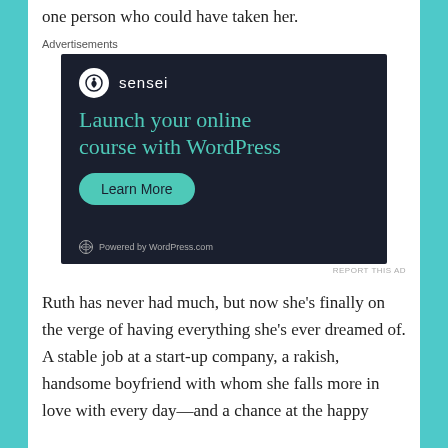one person who could have taken her.
Advertisements
[Figure (infographic): Sensei advertisement with dark navy background. Shows Sensei logo (tree icon in white circle) and name. Large teal headline: 'Launch your online course with WordPress'. Teal rounded button: 'Learn More'. Footer: WordPress logo with 'Powered by WordPress.com'. Small 'REPORT THIS AD' link.]
Ruth has never had much, but now she's finally on the verge of having everything she's ever dreamed of. A stable job at a start-up company, a rakish, handsome boyfriend with whom she falls more in love with every day—and a chance at the happy